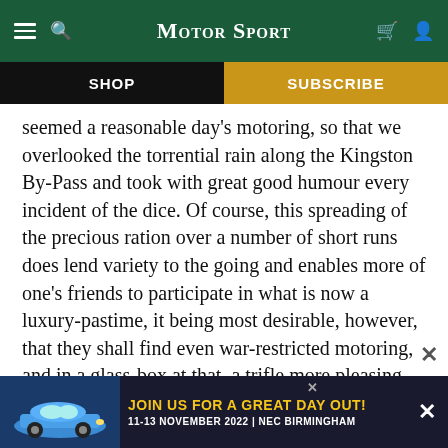Motor Sport — navigation bar with hamburger, search, logo, bag, user icons
SHOP | SUBSCRIBE
seemed a reasonable day's motoring, so that we overlooked the torrential rain along the Kingston By-Pass and took with great good humour every incident of the dice. Of course, this spreading of the precious ration over a number of short runs does lend variety to the going and enables more of one's friends to participate in what is now a luxury-pastime, it being most desirable, however, that they shall find even war-restricted motoring, and in a glass-box at that, a trifle more pleasing than visiting a cinema or dancehall, while if the char… nder such…
[Figure (infographic): Advertisement banner: blue Porsche 911 car image on left, yellow text 'JOIN US FOR A GREAT DAY OUT!' with '11-13 NOVEMBER 2022 | NEC BIRMINGHAM' on dark background, with close X button]